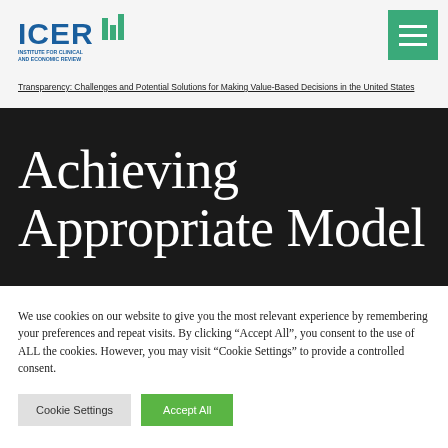[Figure (logo): ICER logo — Institute for Clinical and Economic Review]
[Figure (other): Green hamburger menu button with three white horizontal lines]
Transparency: Challenges and Potential Solutions for Making Value-Based Decisions in the United States
Achieving Appropriate Model
We use cookies on our website to give you the most relevant experience by remembering your preferences and repeat visits. By clicking “Accept All”, you consent to the use of ALL the cookies. However, you may visit "Cookie Settings" to provide a controlled consent.
Cookie Settings   Accept All